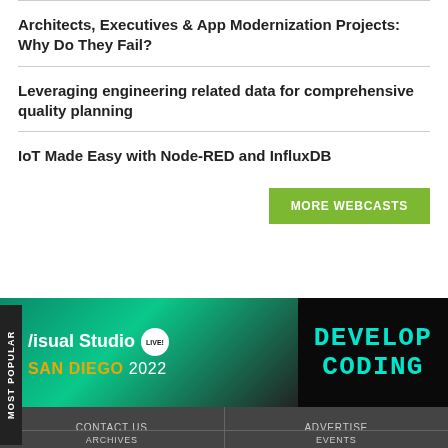Architects, Executives & App Modernization Projects: Why Do They Fail?
Leveraging engineering related data for comprehensive quality planning
IoT Made Easy with Node-RED and InfluxDB
MORE WEBCASTS
[Figure (screenshot): Banner advertisement: Visual Studio LIVE! San Diego 2022 on left with teal gradient background; right side shows DEVELOP CODING text in cyan monospace font on black background.]
CONTACT US | ADVERTISE | ARCHIVES | EVENTS